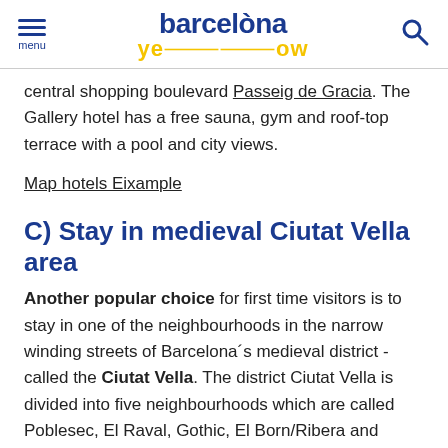menu | barcelona yellow | search
central shopping boulevard Passeig de Gracia. The Gallery hotel has a free sauna, gym and roof-top terrace with a pool and city views.
Map hotels Eixample
C) Stay in medieval Ciutat Vella area
Another popular choice for first time visitors is to stay in one of the neighbourhoods in the narrow winding streets of Barcelona´s medieval district - called the Ciutat Vella. The district Ciutat Vella is divided into five neighbourhoods which are called Poblesec, El Raval, Gothic, El Born/Ribera and Barceloneta. Popular here is new Hotel Cool Room Malda - rated Superb by guests for location, new and clean rooms and overall great value